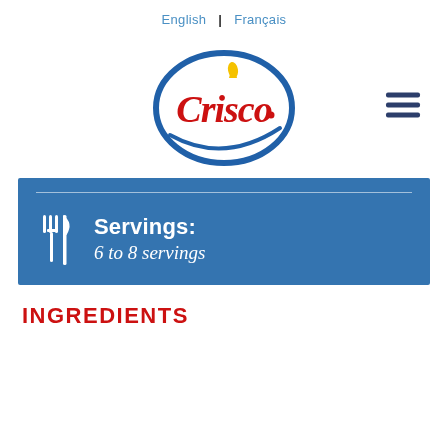English | Français
[Figure (logo): Crisco brand logo — red cursive Crisco text inside a blue oval ring with a yellow oil drop above the letter i]
Servings: 6 to 8 servings
INGREDIENTS